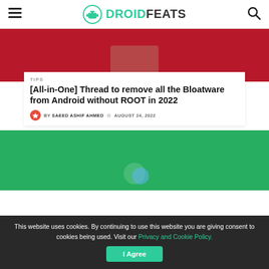DROIDFEATS
[Figure (photo): Person holding a smartphone against a red background, partially visible]
TIPS
[All-in-One] Thread to remove all the Bloatware from Android without ROOT in 2022
BY SAEED ASHIF AHMED   AUGUST 24, 2022
[Figure (photo): Green background image with Android-related content]
This website uses cookies. By continuing to use this website you are giving consent to cookies being used. Visit our Privacy and Cookie Policy.